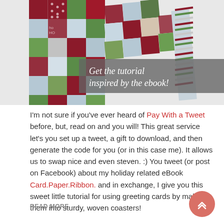[Figure (photo): Photo of patchwork quilt/coaster pieces in holiday red, green, white and blue fabrics with a grey semi-transparent banner overlay reading 'Get the tutorial inspired by the ebook!']
I'm not sure if you've ever heard of Pay With a Tweet before, but, read on and you will! This great service let's you set up a tweet, a gift to download, and then generate the code for you (or in this case me). It allows us to swap nice and even steven. :) You tweet (or post on Facebook) about my holiday related eBook Card.Paper.Ribbon. and in exchange, I give you this sweet little tutorial for using greeting cards by making them into sturdy, woven coasters!
READ MORE →